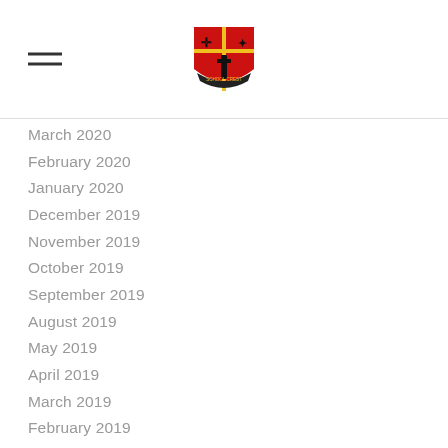[School logo and navigation]
March 2020
February 2020
January 2020
December 2019
November 2019
October 2019
September 2019
August 2019
May 2019
April 2019
March 2019
February 2019
January 2019
December 2018
November 2018
October 2018
September 2018
August 2018